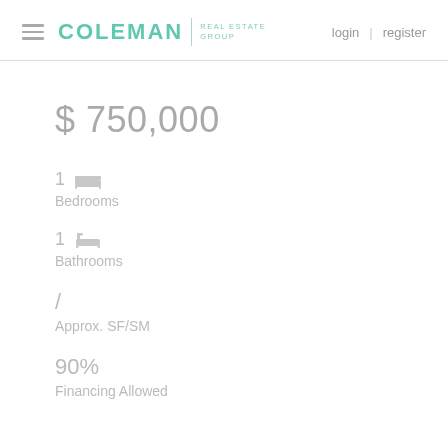COLEMAN REAL ESTATE GROUP | login | register
$ 750,000
1 [bed icon]
Bedrooms
1 [bath icon]
Bathrooms
/
Approx. SF/SM
90%
Financing Allowed